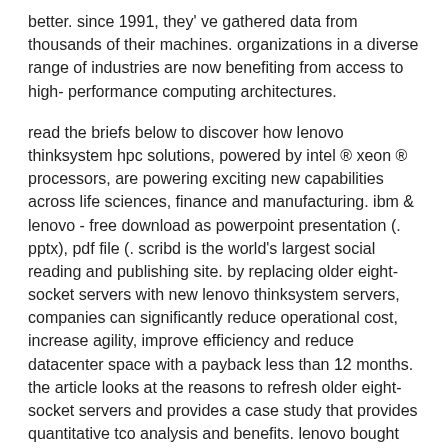better. since 1991, they' ve gathered data from thousands of their machines. organizations in a diverse range of industries are now benefiting from access to high- performance computing architectures.
read the briefs below to discover how lenovo thinksystem hpc solutions, powered by intel ® xeon ® processors, are powering exciting new capabilities across life sciences, finance and manufacturing. ibm & lenovo - free download as powerpoint presentation (. pptx), pdf file (. scribd is the world's largest social reading and publishing site. by replacing older eight- socket servers with new lenovo thinksystem servers, companies can significantly reduce operational cost, increase agility, improve efficiency and reduce datacenter space with a payback less than 12 months. the article looks at the reasons to refresh older eight- socket servers and provides a case study that provides quantitative tco analysis and benefits. lenovo bought ibm' s pc business 10 years ago: jury out on broader ambitions. lenovo' s acquisition of ibm' s pc business a decade ago transformed both partners. lenovo gets a short